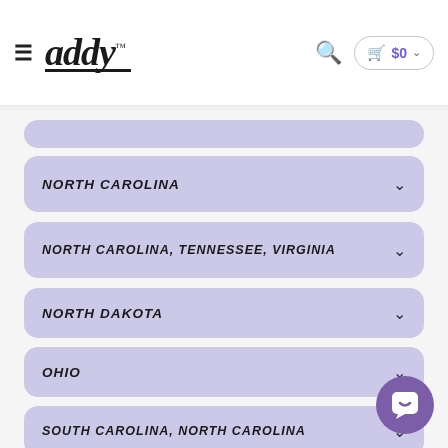addy — navigation header with hamburger menu, search icon, and cart showing $0
NORTH CAROLINA
NORTH CAROLINA, TENNESSEE, VIRGINIA
NORTH DAKOTA
OHIO
SOUTH CAROLINA, NORTH CAROLINA
TEXAS
WASHINGTON
WEST VIRGINIA